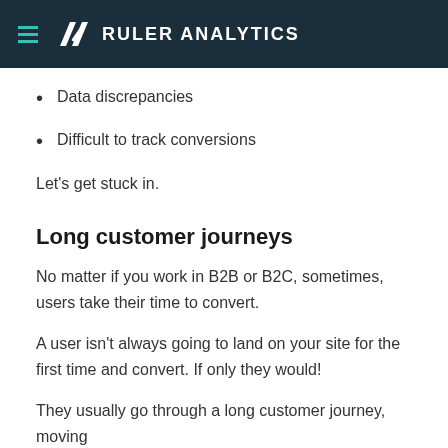RULER ANALYTICS
Data discrepancies
Difficult to track conversions
Let's get stuck in.
Long customer journeys
No matter if you work in B2B or B2C, sometimes, users take their time to convert.
A user isn't always going to land on your site for the first time and convert. If only they would!
They usually go through a long customer journey, moving